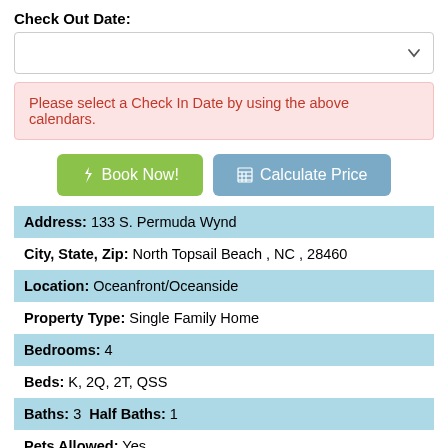Check Out Date:
Please select a Check In Date by using the above calendars.
Book Now!
Calculate Price
| Address: 133 S. Permuda Wynd |
| City, State, Zip: North Topsail Beach , NC , 28460 |
| Location: Oceanfront/Oceanside |
| Property Type: Single Family Home |
| Bedrooms: 4 |
| Beds: K, 2Q, 2T, QSS |
| Baths: 3  Half Baths: 1 |
| Pets Allowed: Yes |
| Parking Spots: 4 |
[Figure (infographic): Row of icons: info icon, swim/water icon, paw print icon, no smoking icon]